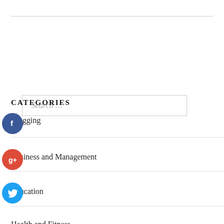[Figure (other): Search input box with placeholder text 'Search ...']
CATEGORIES
Blogging
Business and Management
Education
Health and Fitness